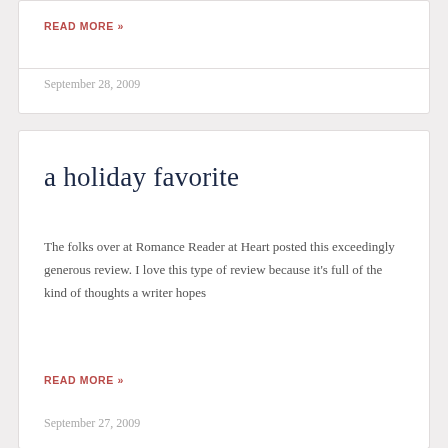READ MORE »
September 28, 2009
a holiday favorite
The folks over at Romance Reader at Heart posted this exceedingly generous review. I love this type of review because it's full of the kind of thoughts a writer hopes
READ MORE »
September 27, 2009